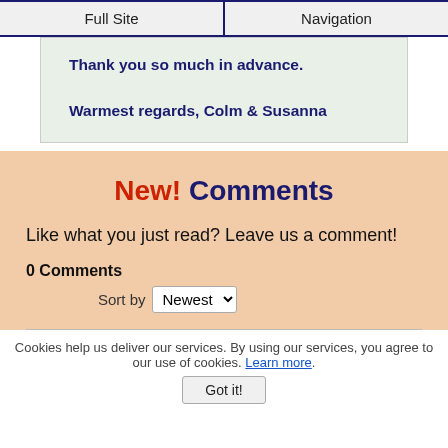Full Site | Navigation
Thank you so much in advance.

Warmest regards, Colm & Susanna
New! Comments
Like what you just read? Leave us a comment!
0 Comments
Sort by Newest
Cookies help us deliver our services. By using our services, you agree to our use of cookies. Learn more.
Got it!